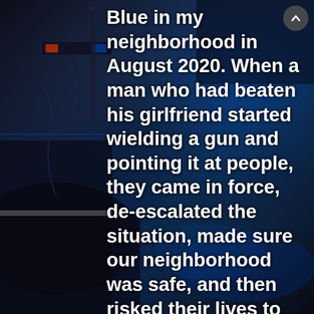[Figure (photo): Dark background photo of police car equipment/rooftop with blue lighting effects, serving as background for overlaid text]
Blue in my neighborhood in August 2020. When a man who had beaten his girlfriend started wielding a gun and pointing it at people, they came in force, de-escalated the situation, made sure our neighborhood was safe, and then risked their lives to go in and apprehend this man. Thank God for these brave officers! My family and I felt totally safe! 'When the going